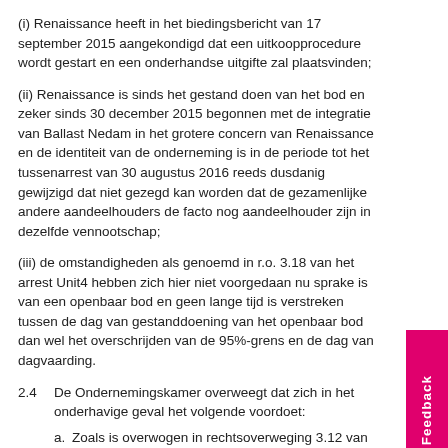(i) Renaissance heeft in het biedingsbericht van 17 september 2015 aangekondigd dat een uitkoopprocedure wordt gestart en een onderhandse uitgifte zal plaatsvinden;
(ii) Renaissance is sinds het gestand doen van het bod en zeker sinds 30 december 2015 begonnen met de integratie van Ballast Nedam in het grotere concern van Renaissance en de identiteit van de onderneming is in de periode tot het tussenarrest van 30 augustus 2016 reeds dusdanig gewijzigd dat niet gezegd kan worden dat de gezamenlijke andere aandeelhouders de facto nog aandeelhouder zijn in dezelfde vennootschap;
(iii) de omstandigheden als genoemd in r.o. 3.18 van het arrest Unit4 hebben zich hier niet voorgedaan nu sprake is van een openbaar bod en geen lange tijd is verstreken tussen de dag van gestanddoening van het openbaar bod dan wel het overschrijden van de 95%-grens en de dag van dagvaarding.
2.4  De Ondernemingskamer overweegt dat zich in het onderhavige geval het volgende voordoet:
a. Zoals is overwogen in rechtsoverweging 3.12 van het tussenarrest is de acceptatiegraad van het bod niet dermate hoog dat die rechtvaardigt om de biedprijs in deze uitkoopprocedure tot uitgangspunt te nemen bij de vast te stellen prijs.
b. Met die beperkte acceptatiegraad hangt samen dat Renaissance